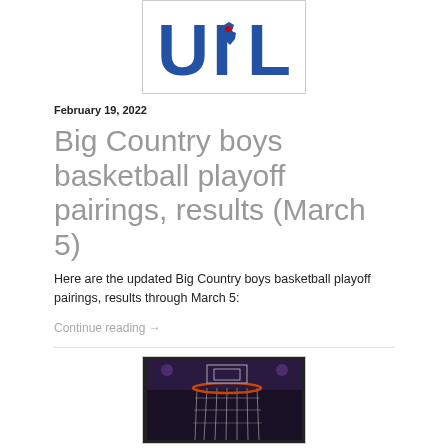[Figure (logo): UIL (University Interscholastic League) logo – blue letters UIL with a Texas state outline, red star, white background, bordered box]
February 19, 2022
Big Country boys basketball playoff pairings, results (March 5)
Here are the updated Big Country boys basketball playoff pairings, results through March 5:
Continue reading →
[Figure (photo): Basketball net photo from below, dark background with scoreboard or arena lighting visible]